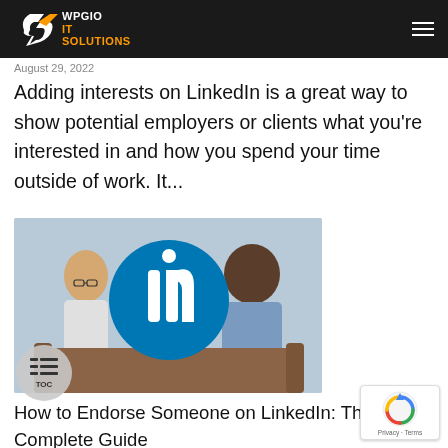[Figure (logo): WPGIO IT Solutions logo with arrow/swoosh icon on dark navbar]
August 29, 2022
Adding interests on LinkedIn is a great way to show potential employers or clients what you're interested in and how you spend your time outside of work. It...
[Figure (photo): Two men sitting on a couch having a conversation, with a large LinkedIn logo (blue circle with 'in') overlaid in the center]
How to Endorse Someone on LinkedIn: The Complete Guide